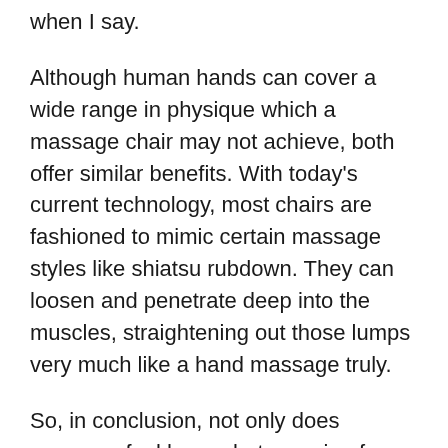when I say.
Although human hands can cover a wide range in physique which a massage chair may not achieve, both offer similar benefits. With today’s current technology, most chairs are fashioned to mimic certain massage styles like shiatsu rubdown. They can loosen and penetrate deep into the muscles, straightening out those lumps very much like a hand massage truly.
So, in conclusion, not only does massage feel happy but amazing for fighting for federal. Feeling a bit stressed out? This is actually the perfect reason to get right to the spa and relax. It is a fact that many of us feel guilty for this particular indulgence however it is